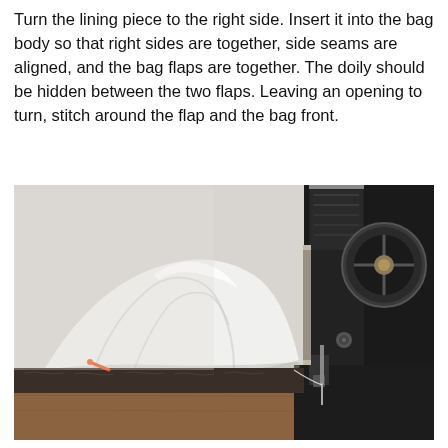Turn the lining piece to the right side. Insert it into the bag body so that right sides are together, side seams are aligned, and the bag flaps are together. The doily should be hidden between the two flaps. Leaving an opening to turn, stitch around the flap and the bag front.
[Figure (photo): A white fabric bag piece being sewn under an antique black sewing machine on a wooden surface. The bag shows white lining fabric on top and a dark floral/patterned fabric beneath, with an orange pin visible.]